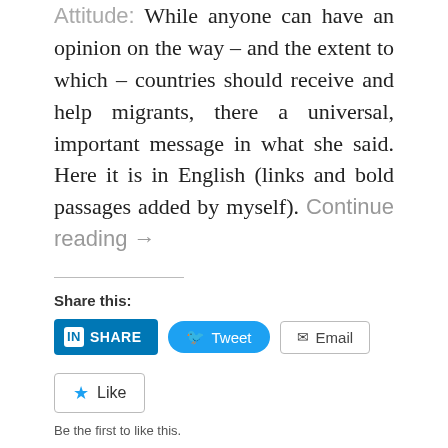Attitude: While anyone can have an opinion on the way – and the extent to which – countries should receive and help migrants, there a universal, important message in what she said. Here it is in English (links and bold passages added by myself). Continue reading →
Share this:
[Figure (other): Social share buttons: LinkedIn SHARE, Tweet, Email]
[Figure (other): Like button widget with star icon and text 'Like']
Be the first to like this.
28 NOVEMBER 2012
Help us raise